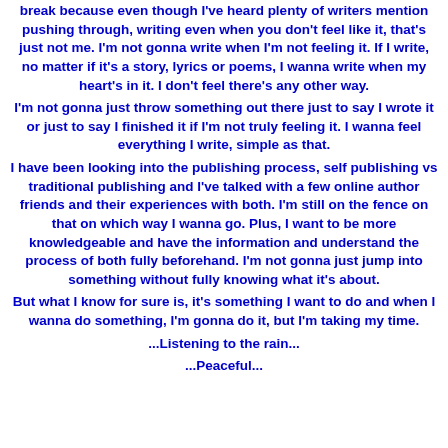break because even though I've heard plenty of writers mention pushing through, writing even when you don't feel like it, that's just not me. I'm not gonna write when I'm not feeling it. If I write, no matter if it's a story, lyrics or poems, I wanna write when my heart's in it. I don't feel there's any other way.

I'm not gonna just throw something out there just to say I wrote it or just to say I finished it if I'm not truly feeling it. I wanna feel everything I write, simple as that.

I have been looking into the publishing process, self publishing vs traditional publishing and I've talked with a few online author friends and their experiences with both. I'm still on the fence on that on which way I wanna go. Plus, I want to be more knowledgeable and have the information and understand the process of both fully beforehand. I'm not gonna just jump into something without fully knowing what it's about.

But what I know for sure is, it's something I want to do and when I wanna do something, I'm gonna do it, but I'm taking my time.

...Listening to the rain...

...Peaceful...